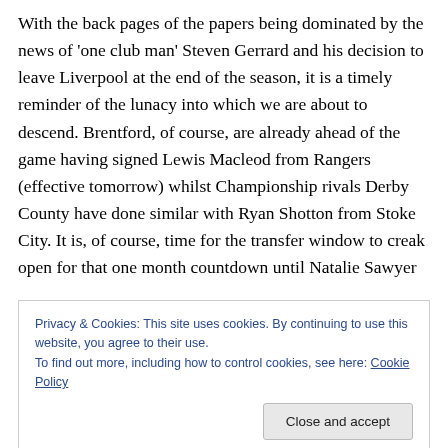With the back pages of the papers being dominated by the news of 'one club man' Steven Gerrard and his decision to leave Liverpool at the end of the season, it is a timely reminder of the lunacy into which we are about to descend. Brentford, of course, are already ahead of the game having signed Lewis Macleod from Rangers (effective tomorrow) whilst Championship rivals Derby County have done similar with Ryan Shotton from Stoke City. It is, of course, time for the transfer window to creak open for that one month countdown until Natalie Sawyer
Privacy & Cookies: This site uses cookies. By continuing to use this website, you agree to their use.
To find out more, including how to control cookies, see here: Cookie Policy
reading device) in full. Containing additional material and